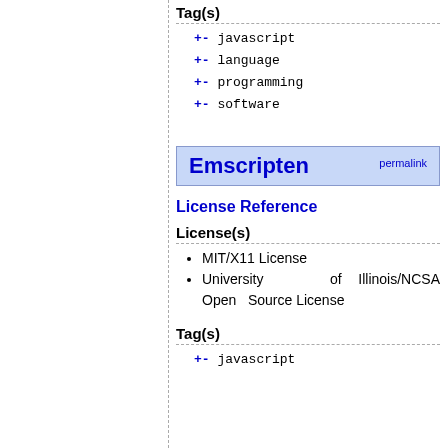Tag(s)
+- javascript
+- language
+- programming
+- software
Emscripten  permalink
License Reference
License(s)
MIT/X11 License
University of Illinois/NCSA Open Source License
Tag(s)
+- javascript